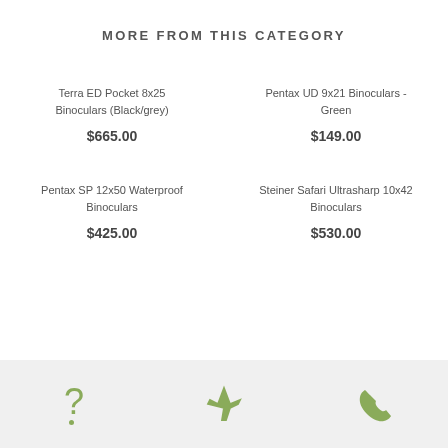MORE FROM THIS CATEGORY
Terra ED Pocket 8x25 Binoculars (Black/grey)
$665.00
Pentax UD 9x21 Binoculars - Green
$149.00
Pentax SP 12x50 Waterproof Binoculars
$425.00
Steiner Safari Ultrasharp 10x42 Binoculars
$530.00
[Figure (infographic): Footer bar with three icons: question mark, airplane, telephone handset — all in olive/sage green color on light grey background]